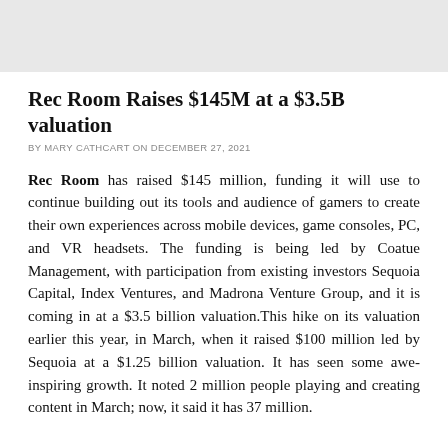[Figure (photo): Gray image placeholder area at the top of the page]
Rec Room Raises $145M at a $3.5B valuation
BY MARY CATHCART ON DECEMBER 27, 2021
Rec Room has raised $145 million, funding it will use to continue building out its tools and audience of gamers to create their own experiences across mobile devices, game consoles, PC, and VR headsets. The funding is being led by Coatue Management, with participation from existing investors Sequoia Capital, Index Ventures, and Madrona Venture Group, and it is coming in at a $3.5 billion valuation.This hike on its valuation earlier this year, in March, when it raised $100 million led by Sequoia at a $1.25 billion valuation. It has seen some awe-inspiring growth. It noted 2 million people playing and creating content in March; now, it said it has 37 million.